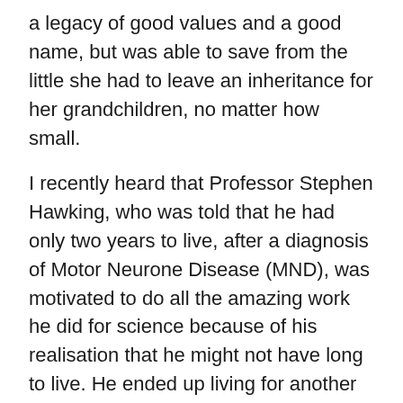a legacy of good values and a good name, but was able to save from the little she had to leave an inheritance for her grandchildren, no matter how small.
I recently heard that Professor Stephen Hawking, who was told that he had only two years to live, after a diagnosis of Motor Neurone Disease (MND), was motivated to do all the amazing work he did for science because of his realisation that he might not have long to live. He ended up living for another 52 years and achieving more than anyone expected, despite his physical disabilities. Mama Kagoro was in her sixties when she died, and despite all